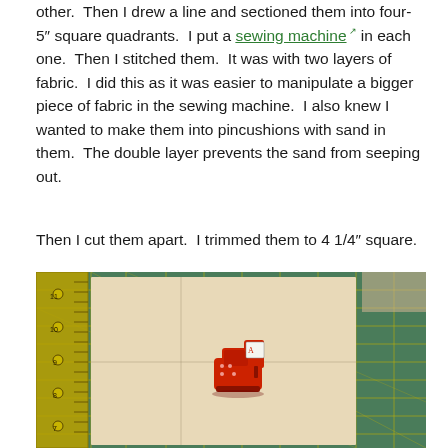other.  Then I drew a line and sectioned them into four- 5" square quadrants.  I put a sewing machine in each one.  Then I stitched them.  It was with two layers of fabric.  I did this as it was easier to manipulate a bigger piece of fabric in the sewing machine.  I also knew I wanted to make them into pincushions with sand in them.  The double layer prevents the sand from seeping out.
Then I cut them apart.  I trimmed them to 4 1/4" square.
[Figure (photo): A photo of a piece of beige/cream fabric placed on a green cutting mat with yellow grid lines. A small red sewing machine pincushion/charm is placed on the fabric. A yellow ruler is visible on the left side of the cutting mat.]